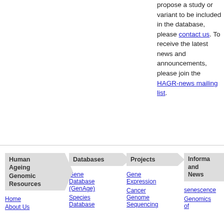propose a study or variant to be included in the database, please contact us. To receive the latest news and announcements, please join the HAGR-news mailing list.
Human Ageing Genomic Resources
Databases
Projects
Information and News
Home
About Us
Gene Database (GenAge)
Species Database
Gene Expression
Cancer Genome Sequencing
senescence
Genomics of